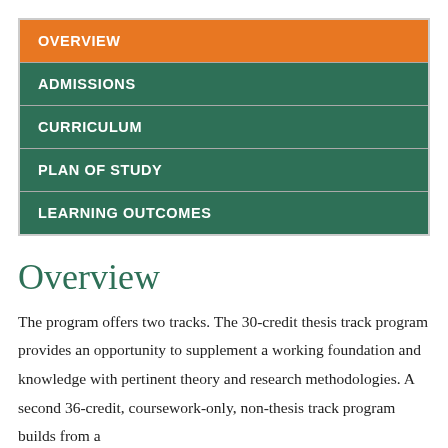OVERVIEW
ADMISSIONS
CURRICULUM
PLAN OF STUDY
LEARNING OUTCOMES
Overview
The program offers two tracks. The 30-credit thesis track program provides an opportunity to supplement a working foundation and knowledge with pertinent theory and research methodologies. A second 36-credit, coursework-only, non-thesis track program builds from a